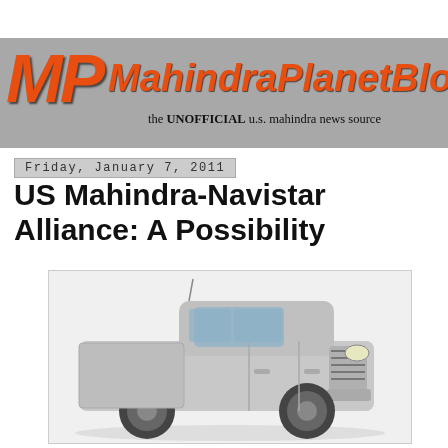MP MahindraPlanetBlog — the UNOFFICIAL u.s. mahindra news source
Friday, January 7, 2011
US Mahindra-Navistar Alliance: A Possibility
[Figure (photo): Silver Mahindra pickup truck (crew cab) viewed from front-left angle on white background]